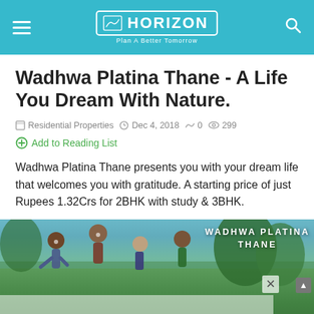HORIZON — Plan A Better Tomorrow
Wadhwa Platina Thane - A Life You Dream With Nature.
Residential Properties  Dec 4, 2018  0  299
Add to Reading List
Wadhwa Platina Thane presents you with your dream life that welcomes you with gratitude. A starting price of just Rupees 1.32Crs for 2BHK with study & 3BHK.
[Figure (photo): Photo of children playing outdoors with text overlay 'WADHWA PLATINA THANE' and a semi-transparent white overlay box with a close button]